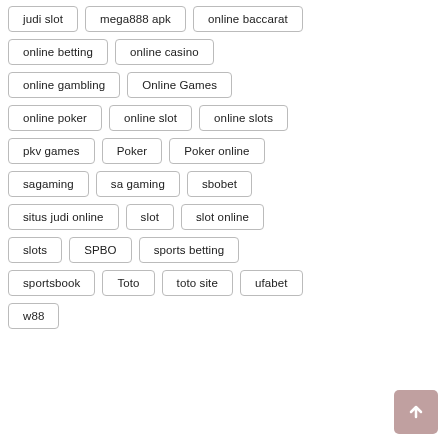judi slot
mega888 apk
online baccarat
online betting
online casino
online gambling
Online Games
online poker
online slot
online slots
pkv games
Poker
Poker online
sagaming
sa gaming
sbobet
situs judi online
slot
slot online
slots
SPBO
sports betting
sportsbook
Toto
toto site
ufabet
w88